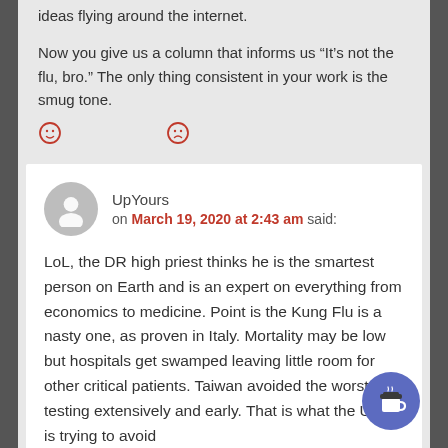ideas flying around the internet.
Now you give us a column that informs us “It’s not the flu, bro.” The only thing consistent in your work is the smug tone.
[Figure (other): Two red smiley/frowny face reaction icons (emoji-style)]
UpYours
on March 19, 2020 at 2:43 am said:
LoL, the DR high priest thinks he is the smartest person on Earth and is an expert on everything from economics to medicine. Point is the Kung Flu is a nasty one, as proven in Italy. Mortality may be low but hospitals get swamped leaving little room for other critical patients. Taiwan avoided the worst by testing extensively and early. That is what the USA is trying to avoid